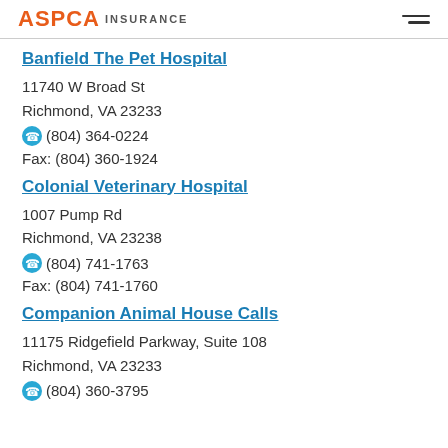ASPCA INSURANCE
Banfield The Pet Hospital
11740 W Broad St
Richmond, VA 23233
(804) 364-0224
Fax: (804) 360-1924
Colonial Veterinary Hospital
1007 Pump Rd
Richmond, VA 23238
(804) 741-1763
Fax: (804) 741-1760
Companion Animal House Calls
11175 Ridgefield Parkway, Suite 108
Richmond, VA 23233
(804) 360-3795